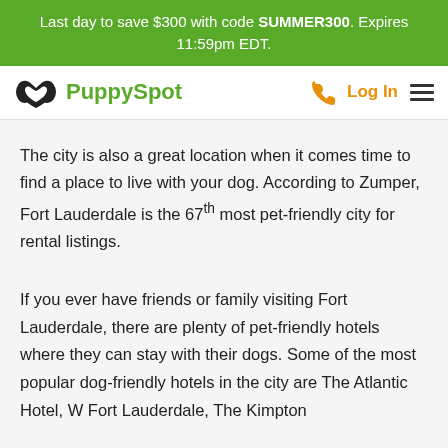Last day to save $300 with code SUMMER300. Expires 11:59pm EDT.
PuppySpot — Log In
The city is also a great location when it comes time to find a place to live with your dog. According to Zumper, Fort Lauderdale is the 67th most pet-friendly city for rental listings.
If you ever have friends or family visiting Fort Lauderdale, there are plenty of pet-friendly hotels where they can stay with their dogs. Some of the most popular dog-friendly hotels in the city are The Atlantic Hotel, W Fort Lauderdale, The Kimpton